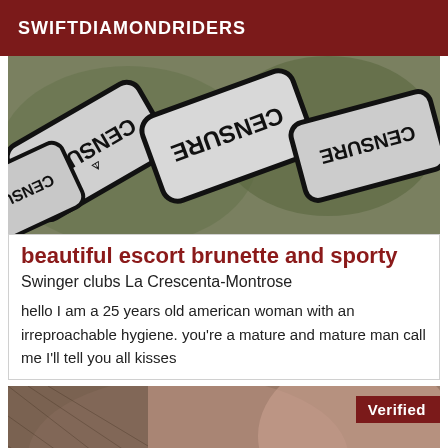SWIFTDIAMONDRIDERS
[Figure (photo): Censored image with overlapping 'CENSURE' warning signs in gray and black on a green/nature background]
beautiful escort brunette and sporty
Swinger clubs La Crescenta-Montrose
hello I am a 25 years old american woman with an irreproachable hygiene. you're a mature and mature man call me I'll tell you all kisses
[Figure (photo): Partially visible image of a person, with a 'Verified' badge in the top right corner]